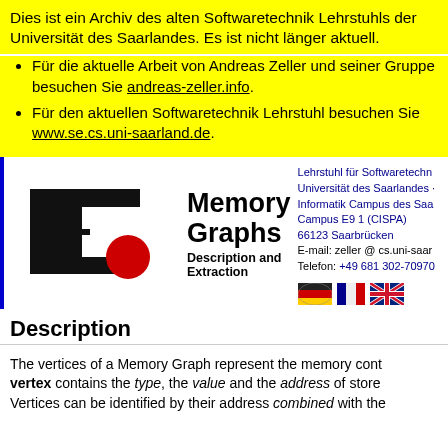Dies ist ein Archiv des alten Softwaretechnik Lehrstuhls der Universität des Saarlandes. Es ist nicht länger aktuell.
Für die aktuelle Arbeit von Andreas Zeller und seiner Gruppe besuchen Sie andreas-zeller.info.
Für den aktuellen Softwaretechnik Lehrstuhl besuchen Sie www.se.cs.uni-saarland.de.
[Figure (logo): Memory Graphs logo with black C-shape and red circle]
Memory Graphs Description and Extraction
Lehrstuhl für Softwaretechnik, Universität des Saarlandes, Informatik Campus des Saarlandes, Campus E9 1 (CISPA), 66123 Saarbrücken, E-mail: zeller @ cs.uni-saar..., Telefon: +49 681 302-70970
[Figure (illustration): German, French, and UK flag icons]
Description
The vertices of a Memory Graph represent the memory cont... vertex contains the type, the value and the address of store... Vertices can be identified by their address combined with the...